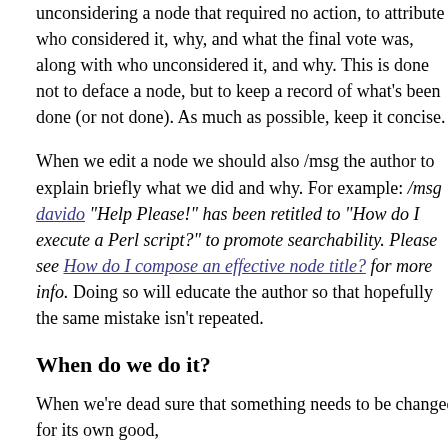unconsidering a node that required no action, to attribute who considered it, why, and what the final vote was, along with who unconsidered it, and why. This is done not to deface a node, but to keep a record of what's been done (or not done). As much as possible, keep it concise.
When we edit a node we should also /msg the author to explain briefly what we did and why. For example: /msg davido "Help Please!" has been retitled to "How do I execute a Perl script?" to promote searchability. Please see How do I compose an effective node title? for more info. Doing so will educate the author so that hopefully the same mistake isn't repeated.
When do we do it?
When we're dead sure that something needs to be changed for its own good,